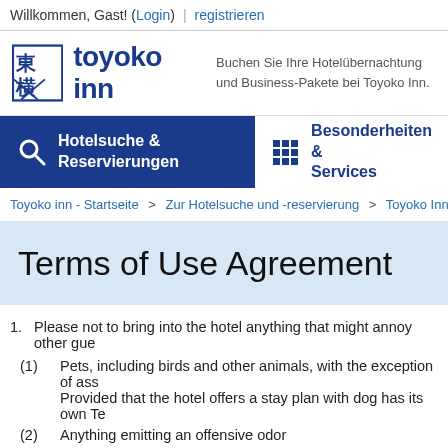Willkommen, Gast! (Login) registrieren
[Figure (logo): Toyoko Inn logo with Japanese kanji characters and the text 'toyoko inn', alongside a description in German: 'Buchen Sie Ihre Hotelübernachtung und Business-Pakete bei Toyoko Inn.']
Hotelsuche & Reservierungen
Besonderheiten & Services
Toyoko inn - Startseite > Zur Hotelsuche und -reservierung > Toyoko Inn Miyaza
Terms of Use Agreement
Please not to bring into the hotel anything that might annoy other gue
(1) Pets, including birds and other animals, with the exception of ass Provided that the hotel offers a stay plan with dog has its own Te
(2) Anything emitting an offensive odor